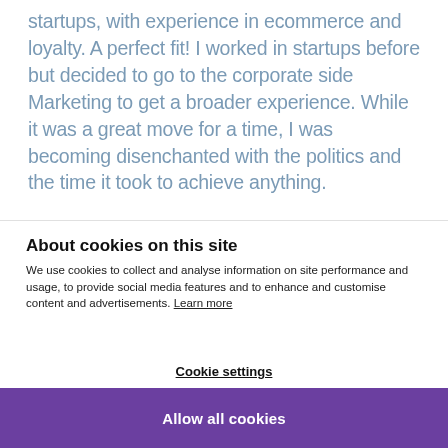startups, with experience in ecommerce and loyalty. A perfect fit! I worked in startups before but decided to go to the corporate side Marketing to get a broader experience. While it was a great move for a time, I was becoming disenchanted with the politics and the time it took to achieve anything.
About cookies on this site
We use cookies to collect and analyse information on site performance and usage, to provide social media features and to enhance and customise content and advertisements. Learn more
Cookie settings
Allow all cookies